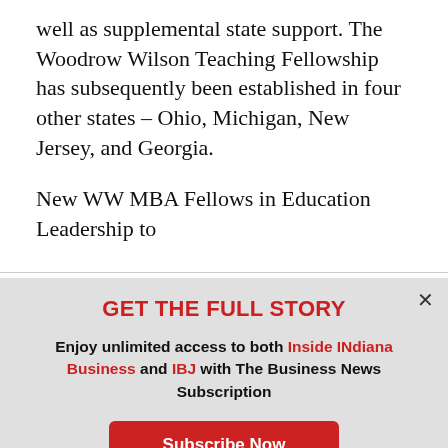well as supplemental state support. The Woodrow Wilson Teaching Fellowship has subsequently been established in four other states – Ohio, Michigan, New Jersey, and Georgia.
New WW MBA Fellows in Education Leadership to
GET THE FULL STORY
Enjoy unlimited access to both Inside INdiana Business and IBJ with The Business News Subscription
Subscribe Now
Already a paid subscriber?
Log In